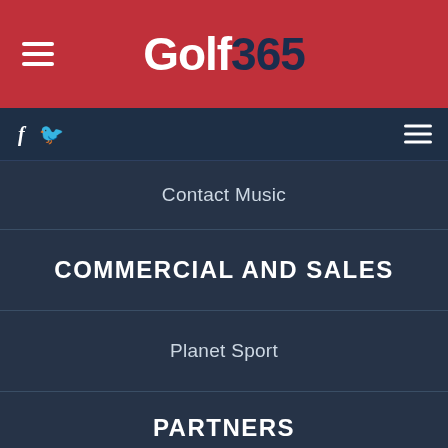[Figure (logo): Golf365 logo on red header background with hamburger menu icon on left]
f  [twitter icon]  [hamburger menu icon]
Contact Music
COMMERCIAL AND SALES
Planet Sport
PARTNERS
Sky Sports